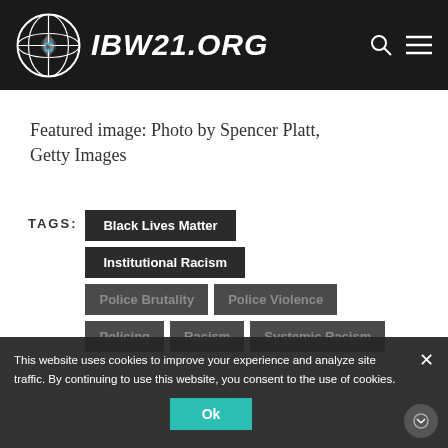[Figure (logo): IBW21.ORG website header with circular globe logo and site name in italic bold white text on black background, with search and menu icons]
Featured image: Photo by Spencer Platt, Getty Images
TAGS: Black Lives Matter | Institutional Racism | Police Brutality | Police Violence | Policing | Racism | Systemic Racism
This website uses cookies to improve your experience and analyze site traffic. By continuing to use this website, you consent to the use of cookies.